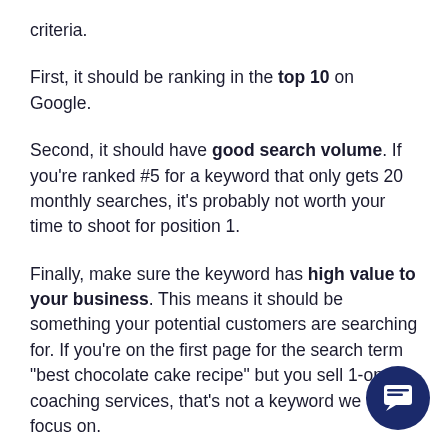criteria.
First, it should be ranking in the top 10 on Google.
Second, it should have good search volume. If you’re ranked #5 for a keyword that only gets 20 monthly searches, it’s probably not worth your time to shoot for position 1.
Finally, make sure the keyword has high value to your business. This means it should be something your potential customers are searching for. If you’re on the first page for the search term “best chocolate cake recipe” but you sell 1-on-1 coaching services, that’s not a keyword we wa… focus on.